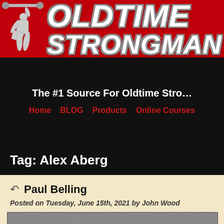[Figure (logo): Oldtime Strongman website banner with red background, muscleman figure doing overhead lift, and bold white text reading OLDTIME STRONGMAN]
The #1 Source For Oldtime Stro…
Home   BLOG   Products   Online Courses
Tag: Alex Aberg
Paul Belling
Posted on Tuesday, June 15th, 2021 by John Wood
[Figure (photo): Partial view of a black and white photograph, content cut off at bottom of page]